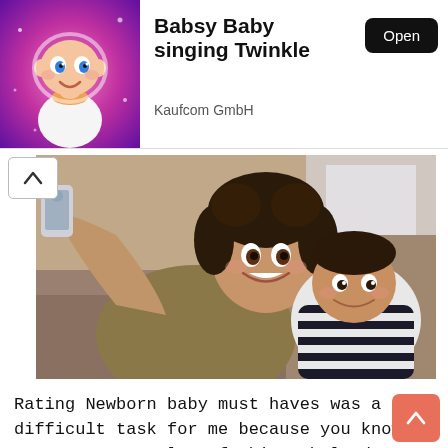[Figure (screenshot): App advertisement banner showing Babsy Baby singing Twinkle by Kaufcom GmbH with cartoon baby character on pink background and Open button]
Babsy Baby singing Twinkle
Kaufcom GmbH
[Figure (photo): Mother and young child taking a selfie together on a couch, smiling at camera]
Rating Newborn baby must haves was a difficult task for me because you know as a young mom lot of things helped me. My children are a bit past the ...